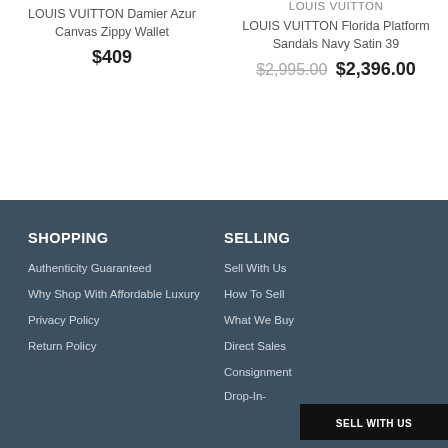LOUIS VUITTON Damier Azur Canvas Zippy Wallet
$409
LOUIS VUITTON
LOUIS VUITTON Florida Platform Sandals Navy Satin 39
$2,995.00 $2,396.00
SHOPPING
Authenticity Guaranteed
Why Shop With Affordable Luxury
Privacy Policy
Return Policy
SELLING
Sell With Us
How To Sell
What We Buy
Direct Sales
Consignment
Drop-In-
SELL WITH US